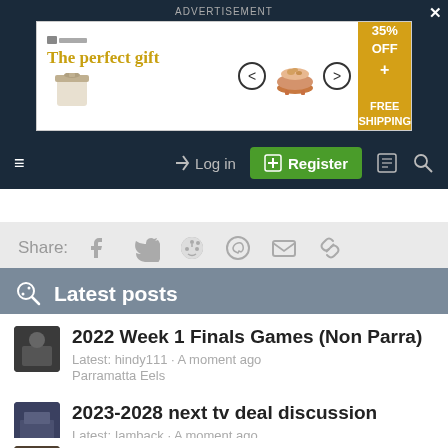ADVERTISEMENT
[Figure (screenshot): Advertisement banner: 'The perfect gift' with food bowl image and '35% OFF + FREE SHIPPING' offer]
☰  Log in  Register
Share: Facebook Twitter Reddit WhatsApp Email Link
Latest posts
2022 Week 1 Finals Games (Non Parra)
Latest: hindy111 · A moment ago
Parramatta Eels
2023-2028 next tv deal discussion
Latest: Iamback · A moment ago
NRL Media Watch
Rumours and Stuff